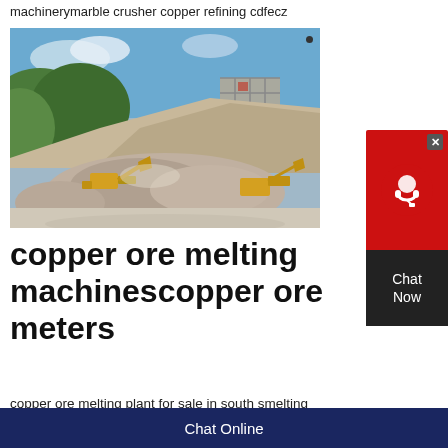machinerymarble crusher copper refining cdfecz
[Figure (photo): Outdoor mining/quarry scene with large piles of crushed stone/gravel, yellow construction machinery (excavators, loaders), a multi-story scaffolding structure in background, and green hills and blue sky visible in the top left.]
copper ore melting machinescopper ore meters
copper ore melting plant for sale in south smelting
Chat Online